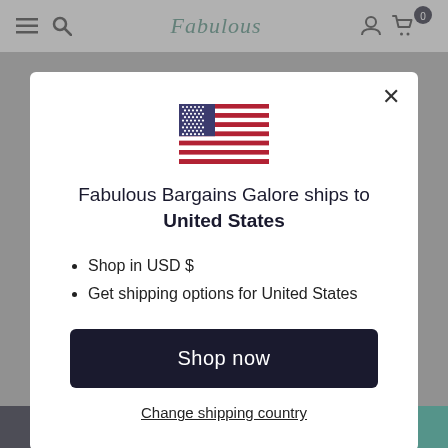Fabulous
[Figure (illustration): US flag with stars and stripes]
Fabulous Bargains Galore ships to United States
Shop in USD $
Get shipping options for United States
Shop now
Change shipping country
Navy Blue / 2T - £20... | ADD TO CART